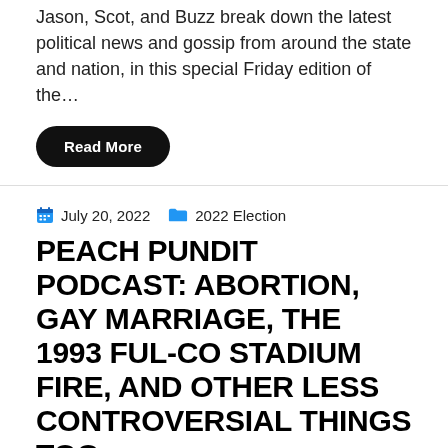Jason, Scot, and Buzz break down the latest political news and gossip from around the state and nation, in this special Friday edition of the…
Read More
July 20, 2022   2022 Election
PEACH PUNDIT PODCAST: ABORTION, GAY MARRIAGE, THE 1993 FUL-CO STADIUM FIRE, AND OTHER LESS CONTROVERSIAL THINGS TOO.